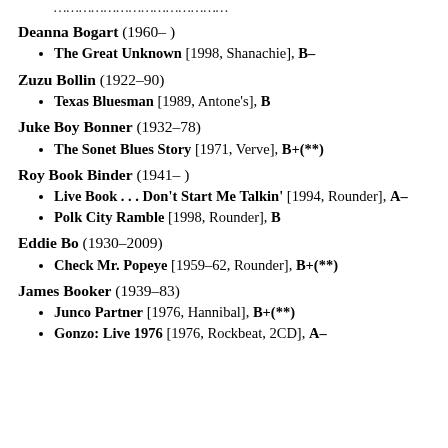[truncated entry above]
Deanna Bogart (1960– )
The Great Unknown [1998, Shanachie], B–
Zuzu Bollin (1922–90)
Texas Bluesman [1989, Antone's], B
Juke Boy Bonner (1932–78)
The Sonet Blues Story [1971, Verve], B+(**)
Roy Book Binder (1941– )
Live Book . . . Don't Start Me Talkin' [1994, Rounder], A–
Polk City Ramble [1998, Rounder], B
Eddie Bo (1930–2009)
Check Mr. Popeye [1959–62, Rounder], B+(**)
James Booker (1939–83)
Junco Partner [1976, Hannibal], B+(**)
Gonzo: Live 1976 [1976, Rockbeat, 2CD], A–